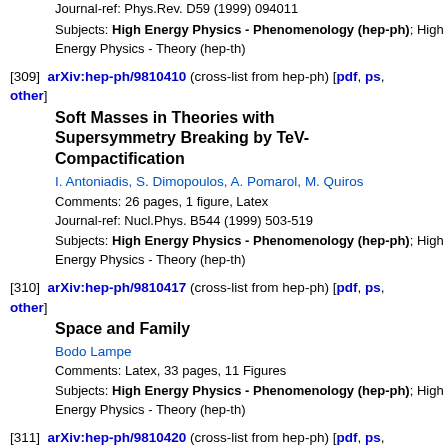Journal-ref: Phys.Rev. D59 (1999) 094011
Subjects: High Energy Physics - Phenomenology (hep-ph); High Energy Physics - Theory (hep-th)
[309] arXiv:hep-ph/9810410 (cross-list from hep-ph) [pdf, ps, other]
Soft Masses in Theories with Supersymmetry Breaking by TeV-Compactification
I. Antoniadis, S. Dimopoulos, A. Pomarol, M. Quiros
Comments: 26 pages, 1 figure, Latex
Journal-ref: Nucl.Phys. B544 (1999) 503-519
Subjects: High Energy Physics - Phenomenology (hep-ph); High Energy Physics - Theory (hep-th)
[310] arXiv:hep-ph/9810417 (cross-list from hep-ph) [pdf, ps, other]
Space and Family
Bodo Lampe
Comments: Latex, 33 pages, 11 Figures
Subjects: High Energy Physics - Phenomenology (hep-ph); High Energy Physics - Theory (hep-th)
[311] arXiv:hep-ph/9810420 (cross-list from hep-ph) [pdf, ps, other]